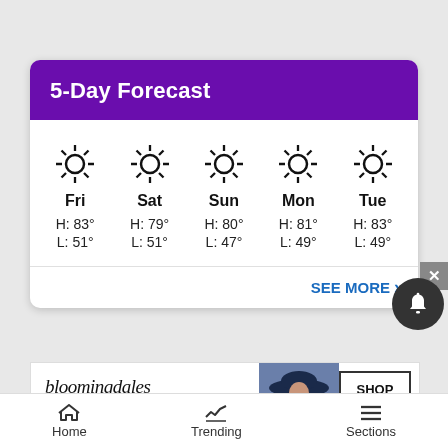5-Day Forecast
| Fri | Sat | Sun | Mon | Tue |
| --- | --- | --- | --- | --- |
| H: 83° | H: 79° | H: 80° | H: 81° | H: 83° |
| L: 51° | L: 51° | L: 47° | L: 49° | L: 49° |
SEE MORE ›
[Figure (other): Bloomingdales advertisement banner: bloomingdales logo, 'View Today's Top Deals!', woman in hat image, 'SHOP NOW >' button]
Home   Trending   Sections